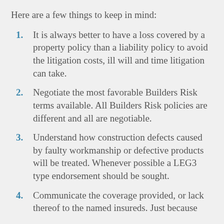Here are a few things to keep in mind:
It is always better to have a loss covered by a property policy than a liability policy to avoid the litigation costs, ill will and time litigation can take.
Negotiate the most favorable Builders Risk terms available. All Builders Risk policies are different and all are negotiable.
Understand how construction defects caused by faulty workmanship or defective products will be treated. Whenever possible a LEG3 type endorsement should be sought.
Communicate the coverage provided, or lack thereof to the named insureds. Just because the broker has not been shown the…